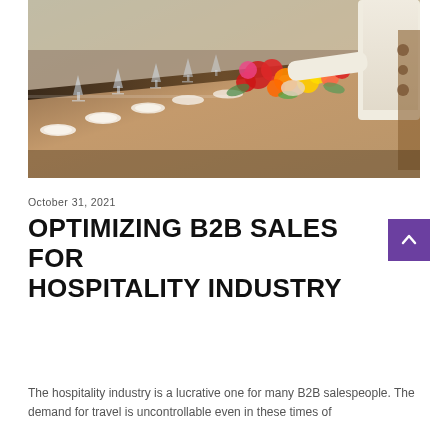[Figure (photo): A elegantly set banquet table with colorful floral arrangements (reds, yellows, oranges), champagne glasses, white place settings, and a person in a white shirt arranging flowers in the background.]
October 31, 2021
OPTIMIZING B2B SALES FOR HOSPITALITY INDUSTRY
The hospitality industry is a lucrative one for many B2B salespeople. The demand for travel is uncontrollable even in these times of